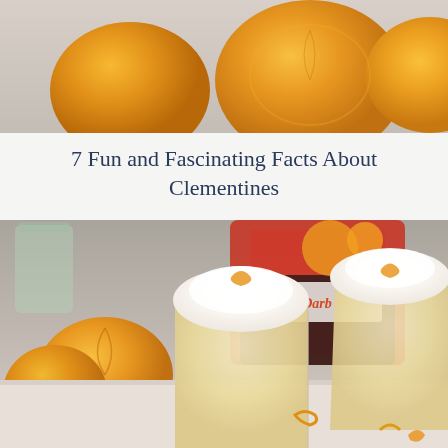[Figure (photo): Top portion of a photo showing peeled clementine oranges on a light surface]
7 Fun and Fascinating Facts About Clementines
[Figure (photo): Two glasses of creamy clementine dessert topped with whipped cream and orange peel garnish, with whole clementines and a bag of Cuties brand clementines in the background]